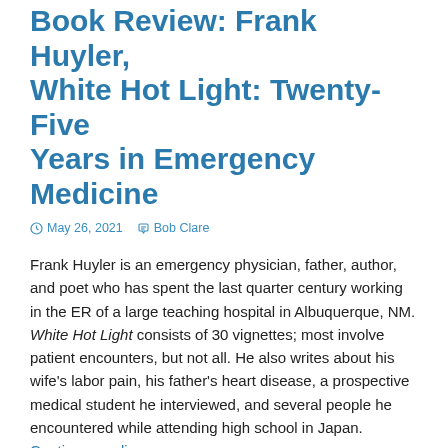Book Review: Frank Huyler, White Hot Light: Twenty-Five Years in Emergency Medicine
May 26, 2021   Bob Clare
Frank Huyler is an emergency physician, father, author, and poet who has spent the last quarter century working in the ER of a large teaching hospital in Albuquerque, NM. White Hot Light consists of 30 vignettes; most involve patient encounters, but not all. He also writes about his wife’s labor pain, his father’s heart disease, a prospective medical student he interviewed, and several people he encountered while attending high school in Japan. Continue reading →
Book Review: Matthew